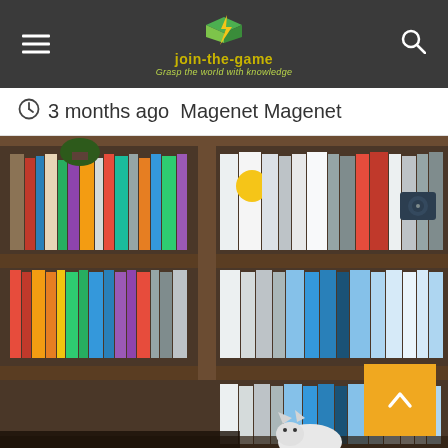join-the-game · Grasp the world with knowledge
3 months ago  Magenet Magenet
[Figure (photo): A wooden bookshelf filled with many books of various colors and sizes, photographed in a warm, slightly blurred style. A white cat is visible at the bottom.]
↑ (back to top button)